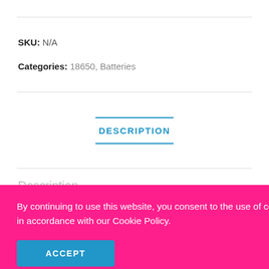SKU: N/A
Categories: 18650, Batteries
DESCRIPTION
Description
. Ideal for
lity
put.
chargers
By continuing to use this website, you consent to the use of cookies in accordance with our Cookie Policy.
ACCEPT